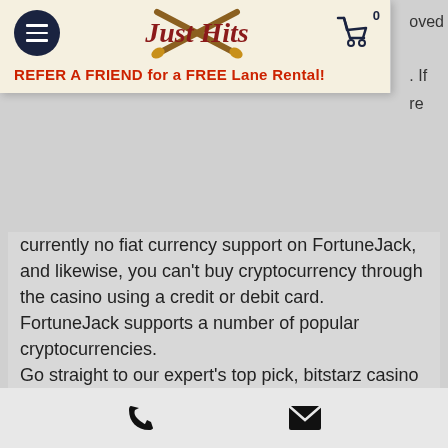[Figure (logo): Just Hits baseball logo with crossed bats and cart icon showing 0 items]
REFER A FRIEND for a FREE Lane Rental!
currently no fiat currency support on FortuneJack, and likewise, you can't buy cryptocurrency through the casino using a credit or debit card. FortuneJack supports a number of popular cryptocurrencies. Go straight to our expert's top pick, bitstarz casino review thepogg. What's more, the strict enforcement of anti-money laundering regulations clashes with the anonymity and privacy concerns of cryptocurrency casino users. For this reason, blockchain casinos, for the most part, block users from the United Kingdom and operate without a UKGC license, bitstarz casino
Phone and email icons